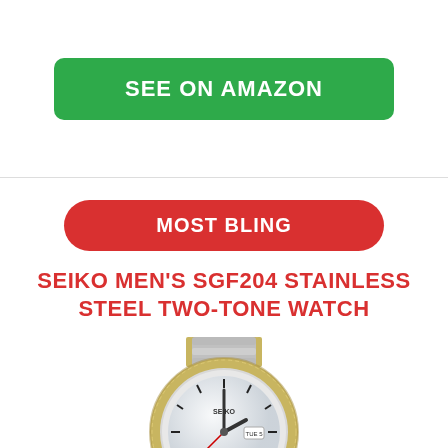SEE ON AMAZON
MOST BLING
SEIKO MEN'S SGF204 STAINLESS STEEL TWO-TONE WATCH
[Figure (photo): Seiko men's SGF204 stainless steel two-tone watch with gold-tone bezel and bracelet, white dial, day-date window]